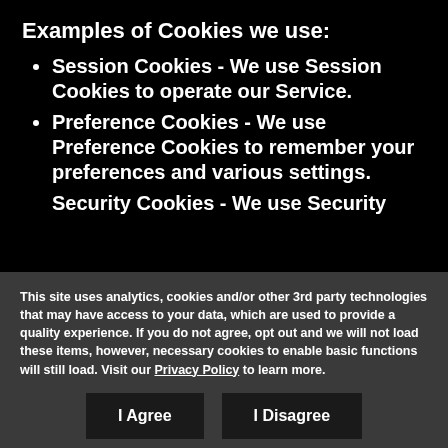Examples of Cookies we use:
Session Cookies - We use Session Cookies to operate our Service.
Preference Cookies - We use Preference Cookies to remember your preferences and various settings.
Security Cookies - We use Security
This site uses analytics, cookies and/or other 3rd party technologies that may have access to your data, which are used to provide a quality experience. If you do not agree, opt out and we will not load these items, however, necessary cookies to enable basic functions will still load. Visit our Privacy Policy to learn more.
I Agree
I Disagree